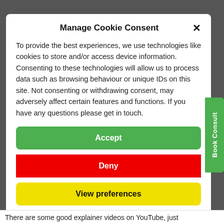Manage Cookie Consent
To provide the best experiences, we use technologies like cookies to store and/or access device information. Consenting to these technologies will allow us to process data such as browsing behaviour or unique IDs on this site. Not consenting or withdrawing consent, may adversely affect certain features and functions. If you have any questions please get in touch.
Accept
Deny
View preferences
Cookie Policy   Privacy Policy
There are some good explainer videos on YouTube, just
Book Consult